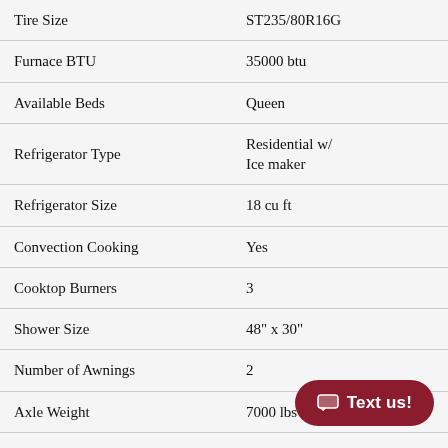| Feature | Value |
| --- | --- |
| Tire Size | ST235/80R16G |
| Furnace BTU | 35000 btu |
| Available Beds | Queen |
| Refrigerator Type | Residential w/ Ice maker |
| Refrigerator Size | 18 cu ft |
| Convection Cooking | Yes |
| Cooktop Burners | 3 |
| Shower Size | 48" x 30" |
| Number of Awnings | 2 |
| Axle Weight | 7000 lbs |
| LP Tank Capacity | 30 lbs |
| Water Heater Capacity | 12 gal |
| Water Heater Type | Gas / Quick |